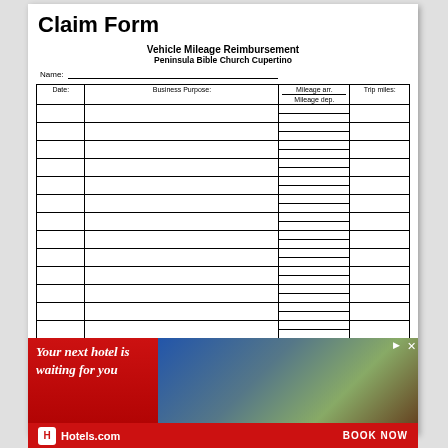Claim Form
Vehicle Mileage Reimbursement
Peninsula Bible Church Cupertino
Name:
| Date: | Business Purpose: | Mileage arr. / Mileage dep. | Trip miles: |
| --- | --- | --- | --- |
|  |  |  |  |
|  |  |  |  |
|  |  |  |  |
|  |  |  |  |
|  |  |  |  |
|  |  |  |  |
|  |  |  |  |
|  |  |  |  |
|  |  |  |  |
|  |  |  |  |
|  |  |  |  |
|  |  |  |  |
|  |  |  |  |
|  |  |  |  |
|  |  |  |  |
[Figure (other): Hotels.com advertisement banner: red background with photo of hotel/resort, text 'Your next hotel is waiting for you', Hotels.com logo, and BOOK NOW button]